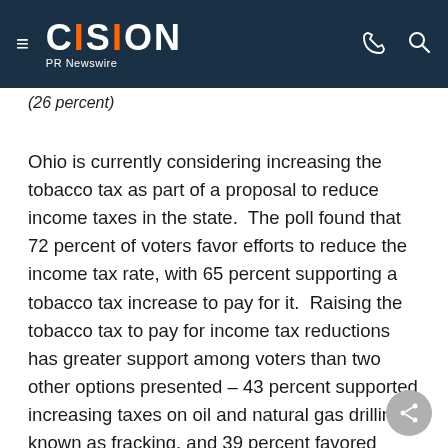CISION PR Newswire
(26 percent)
Ohio is currently considering increasing the tobacco tax as part of a proposal to reduce income taxes in the state. The poll found that 72 percent of voters favor efforts to reduce the income tax rate, with 65 percent supporting a tobacco tax increase to pay for it. Raising the tobacco tax to pay for income tax reductions has greater support among voters than two other options presented – 43 percent supported increasing taxes on oil and natural gas drilling, known as fracking, and 39 percent favored increasing the Commercial Activities Tax.